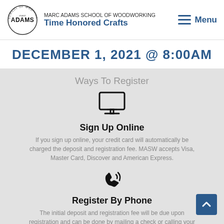MARC ADAMS SCHOOL OF WOODWORKING | Time Honored Crafts | Menu
DECEMBER 1, 2021 @ 8:00AM
Ways To Register
[Figure (illustration): Computer monitor icon]
Sign Up Online
If you sign up online, your credit card will automatically be charged the deposit and registration fee. MASW accepts Visa, Master Card, Discover and American Express.
[Figure (illustration): Phone icon with sound waves]
Register By Phone
The initial deposit and registration fee will be due upon registration and can be done by mailing a check or calling your credit card number.